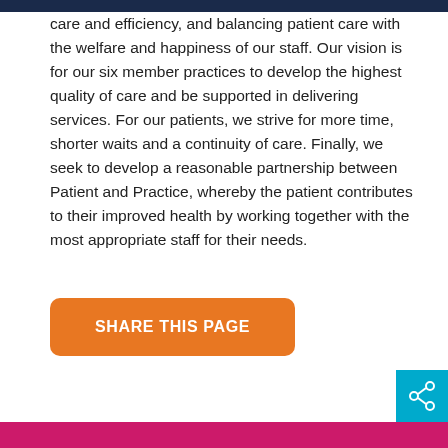care and efficiency, and balancing patient care with the welfare and happiness of our staff. Our vision is for our six member practices to develop the highest quality of care and be supported in delivering services. For our patients, we strive for more time, shorter waits and a continuity of care. Finally, we seek to develop a reasonable partnership between Patient and Practice, whereby the patient contributes to their improved health by working together with the most appropriate staff for their needs.
[Figure (other): Orange rounded button with white bold text reading SHARE THIS PAGE]
[Figure (other): Teal square icon in bottom-right corner with a share/network symbol (three connected circles)]